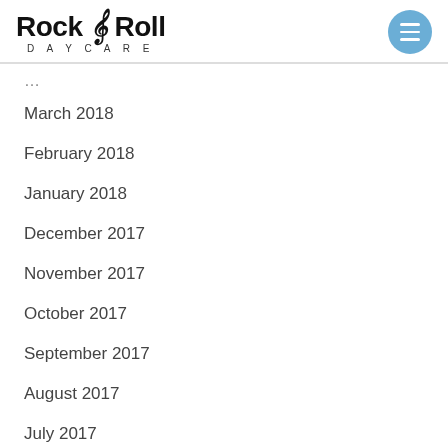[Figure (logo): Rock & Roll Daycare logo with musical note and text DAYCARE below]
March 2018
February 2018
January 2018
December 2017
November 2017
October 2017
September 2017
August 2017
July 2017
June 2017
May 2017